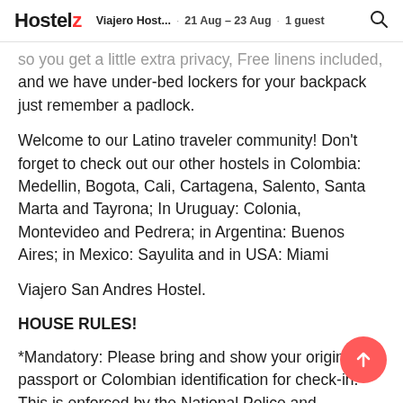Hostelz  Viajero Host...  21 Aug - 23 Aug  1 guest
so you get a little extra privacy, Free linens included, and we have under-bed lockers for your backpack just remember a padlock.
Welcome to our Latino traveler community! Don't forget to check out our other hostels in Colombia: Medellin, Bogota, Cali, Cartagena, Salento, Santa Marta and Tayrona; In Uruguay: Colonia, Montevideo and Pedrera; in Argentina: Buenos Aires; in Mexico: Sayulita and in USA: Miami
Viajero San Andres Hostel.
HOUSE RULES!
*Mandatory: Please bring and show your original passport or Colombian identification for check-in. This is enforced by the National Police and Colombian Migration.